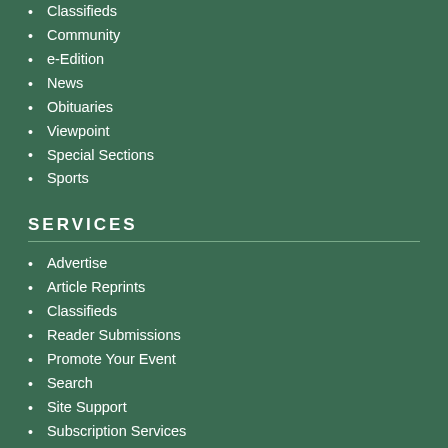Classifieds
Community
e-Edition
News
Obituaries
Viewpoint
Special Sections
Sports
SERVICES
Advertise
Article Reprints
Classifieds
Reader Submissions
Promote Your Event
Search
Site Support
Subscription Services
Weather
CONTACT INFORMATION